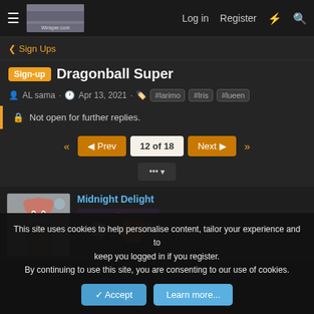Log in  Register
< Sign Ups
Sign-up  Dragonball Super
AL sama · Apr 13, 2021 · #larimo #Iris #lueen
Not open for further replies.
«  ◄ Prev  12 of 18  Next ►  »
... ▼
Midnight Delight
This site uses cookies to help personalise content, tailor your experience and to keep you logged in if you register.
By continuing to use this site, you are consenting to our use of cookies.
✓ Accept   Learn more...